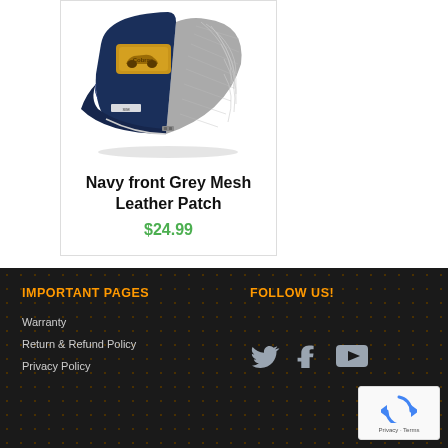[Figure (photo): A navy blue front and grey mesh back trucker cap with a gold leather patch logo on the front]
Navy front Grey Mesh Leather Patch
$24.99
IMPORTANT PAGES
Warranty
Return & Refund Policy
Privacy Policy
FOLLOW US!
[Figure (infographic): Social media icons: Twitter bird, Facebook f, YouTube play button, and reCAPTCHA widget]